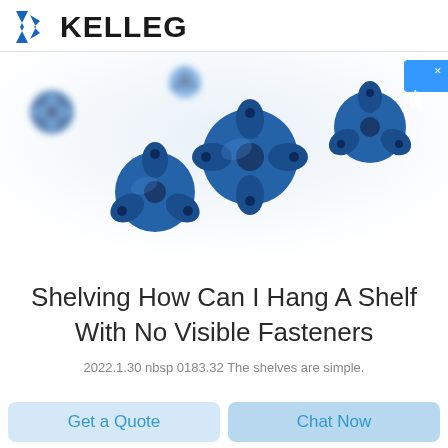KELLEG
[Figure (photo): Blue drill bit tools / rock drilling bits photographed on white background, various star/cross shaped carbide tipped drill bits in blue color]
Shelving How Can I Hang A Shelf With No Visible Fasteners
2022.1.30 nbsp 0183.32 The shelves are simple.